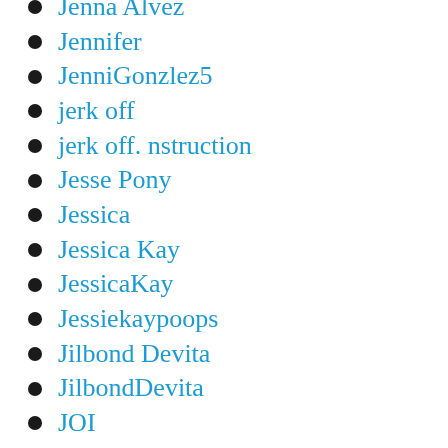Jenna Alvez
Jennifer
JenniGonzlez5
jerk off
jerk off. nstruction
Jesse Pony
Jessica
Jessica Kay
JessicaKay
Jessiekaypoops
Jilbond Devita
JilbondDevita
JOI
jordansdirtysecret
Josslyn Kane
JosslynKane
JosslynKane.com